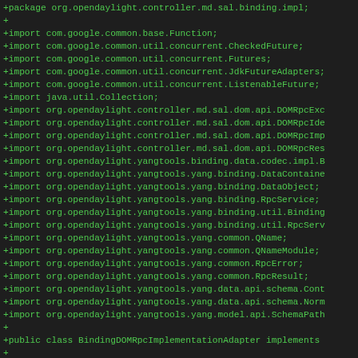[Figure (screenshot): Code diff view showing Java import statements and class declaration for BindingDOMRpcImplementationAdapter in a dark-themed code editor. Green text on dark background showing added lines (+) with package and import statements.]